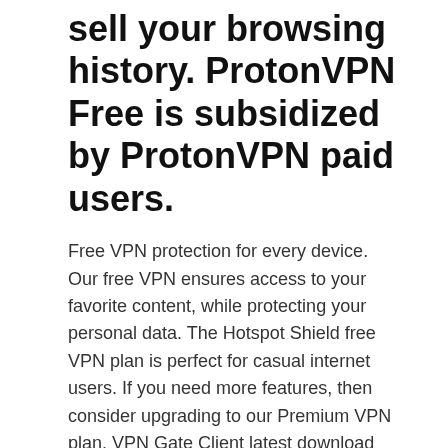sell your browsing history. ProtonVPN Free is subsidized by ProtonVPN paid users.
Free VPN protection for every device. Our free VPN ensures access to your favorite content, while protecting your personal data. The Hotspot Shield free VPN plan is perfect for casual internet users. If you need more features, then consider upgrading to our Premium VPN plan. VPN Gate Client latest download free offline installer setup exe file for all windows 32 and 64 bit. VPN Gate is a free and open source VPN project by University of Tsukuba Japan. The program allow you to get through the government's firewall to browse restricted web sites, bypass firewall protection, and unblock any sites.
Safe Connect VPN: You will receive free, unlimited access to our VPN wireless on